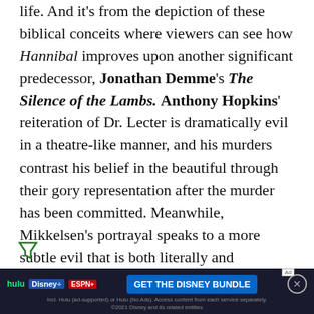life. And it's from the depiction of these biblical conceits where viewers can see how Hannibal improves upon another significant predecessor, Jonathan Demme's The Silence of the Lambs. Anthony Hopkins' reiteration of Dr. Lecter is dramatically evil in a theatre-like manner, and his murders contrast his belief in the beautiful through their gory representation after the murder has been committed. Meanwhile, Mikkelsen's portrayal speaks to a more subtle evil that is both literally and figuratively able to get inside the mind's of his victims, while for most of Season 1 and parts of Season 2 viewers rarely see Mikke... ...ead,
[Figure (other): Advertisement banner: Hulu, Disney+, ESPN+ logos with 'GET THE DISNEY BUNDLE' call to action button. Fine print: Incl. Hulu (ad-supported) or Hulu (No Ads). Access content from each service separately. ©2021 Disney and its related entities]